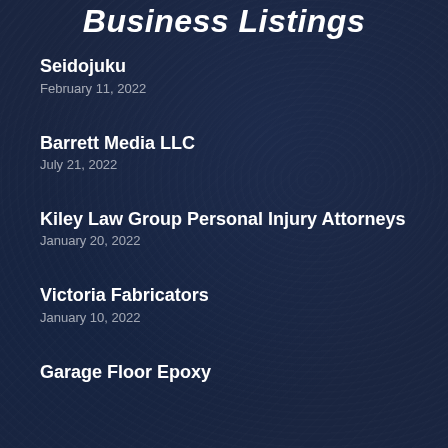Business Listings
Seidojuku
February 11, 2022
Barrett Media LLC
July 21, 2022
Kiley Law Group Personal Injury Attorneys
January 20, 2022
Victoria Fabricators
January 10, 2022
Garage Floor Epoxy